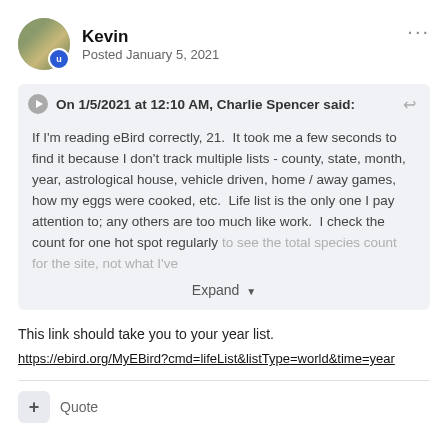[Figure (photo): User avatar photo of Kevin, showing a bird photo, with a blue moderator badge overlay]
Kevin
Posted January 5, 2021
On 1/5/2021 at 12:10 AM, Charlie Spencer said:
If I'm reading eBird correctly, 21.  It took me a few seconds to find it because I don't track multiple lists - county, state, month, year, astrological house, vehicle driven, home / away games, how my eggs were cooked, etc.  Life list is the only one I pay attention to; any others are too much like work.  I check the count for one hot spot regularly to see the total species count for the site, not what I've
Expand
This link should take you to your year list.
https://ebird.org/MyEBird?cmd=lifeList&listType=world&time=year
Quote